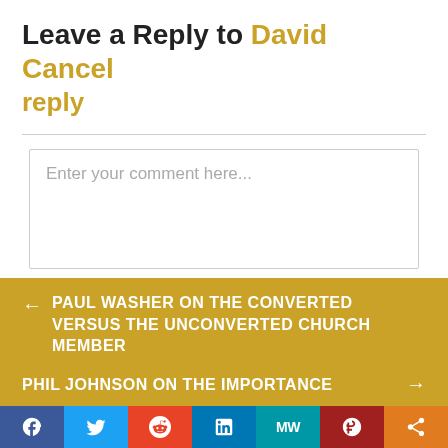Leave a Reply to David Cancel reply
Enter your comment here...
← PAUL WASHER ON THE CONVERTED VERSUS THE UNCONVERTED CHURCH MEMBER
PHIL JOHNSON ON THE IMPORTANCE →
[Figure (infographic): Social sharing bar with icons for Facebook, Twitter, Reddit, LinkedIn, MeWe, Parler, and a share button]